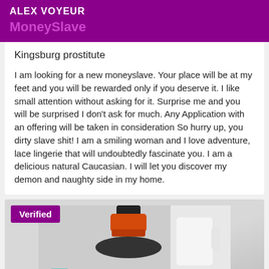ALEX VOYEUR
MoneySlave
Kingsburg prostitute
I am looking for a new moneyslave. Your place will be at my feet and you will be rewarded only if you deserve it. I like small attention without asking for it. Surprise me and you will be surprised I don't ask for much. Any Application with an offering will be taken in consideration So hurry up, you dirty slave shit! I am a smiling woman and I love adventure, lace lingerie that will undoubtedly fascinate you. I am a delicious natural Caucasian. I will let you discover my demon and naughty side in my home.
[Figure (photo): A rubber stamp with orange and black handle on a light background, with a 'Verified' badge overlay in the top left.]